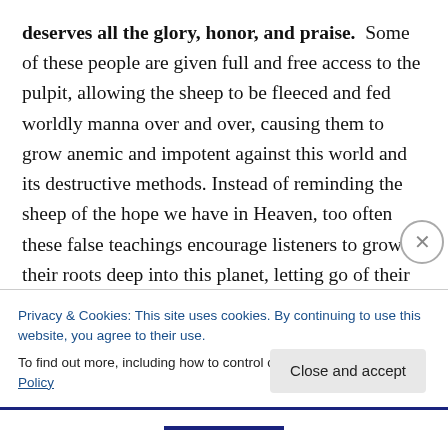deserves all the glory, honor, and praise. Some of these people are given full and free access to the pulpit, allowing the sheep to be fleeced and fed worldly manna over and over, causing them to grow anemic and impotent against this world and its destructive methods. Instead of reminding the sheep of the hope we have in Heaven, too often these false teachings encourage listeners to grow their roots deep into this planet, letting go of their heavenly hopes. Of course this is not true of all those on the “stage” today, but one thing is for sure, Christians are not immune from the power of personalities.
Privacy & Cookies: This site uses cookies. By continuing to use this website, you agree to their use.
To find out more, including how to control cookies, see here: Cookie Policy
Close and accept